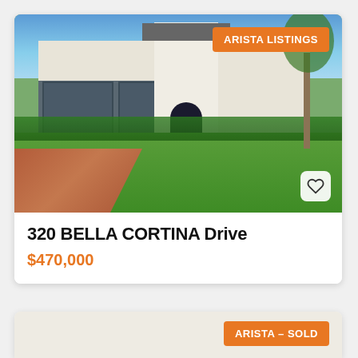[Figure (photo): Exterior photo of a single-story Florida home with gray garage doors, white stucco tower entry, red brick paver driveway, and green lawn with young tree. Orange badge reading ARISTA LISTINGS in upper right corner. Heart icon button in lower right.]
320 BELLA CORTINA Drive
$470,000
[Figure (photo): Partial view of a second real estate listing card with gray/beige background. Orange badge reading ARISTA – SOLD in upper right corner.]